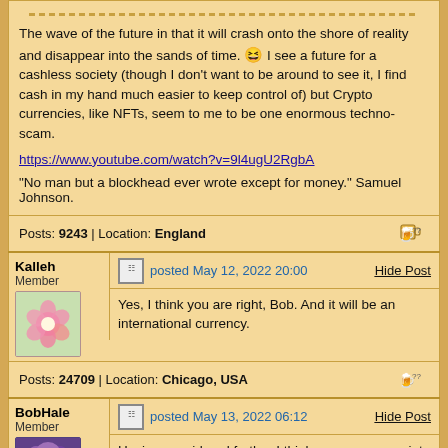The wave of the future in that it will crash onto the shore of reality and disappear into the sands of time. 😆 I see a future for a cashless society (though I don't want to be around to see it, I find cash in my hand much easier to keep control of) but Crypto currencies, like NFTs, seem to me to be one enormous techno-scam.
https://www.youtube.com/watch?v=9l4ugU2RgbA
"No man but a blockhead ever wrote except for money." Samuel Johnson.
Posts: 9243 | Location: England
Kalleh Member
posted May 12, 2022 20:00
Hide Post
Yes, I think you are right, Bob. And it will be an international currency.
Posts: 24709 | Location: Chicago, USA
BobHale Member
posted May 13, 2022 06:12
Hide Post
Having considered further I think a more appropriate